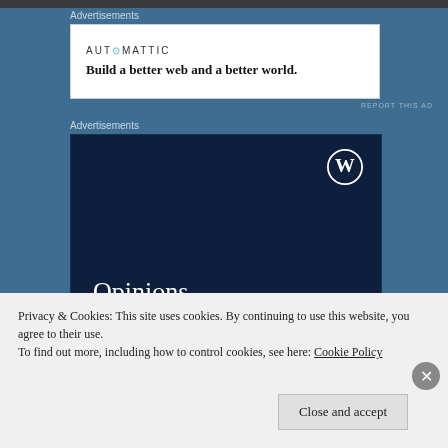[Figure (screenshot): Top dark strip representing cropped webpage image]
Advertisements
[Figure (screenshot): Automattic advertisement: logo and tagline 'Build a better web and a better world.']
REPORT THIS AD
Advertisements
[Figure (screenshot): WordPress.com advertisement on dark navy background with WordPress logo, text 'Opinions. We all have them!']
Privacy & Cookies: This site uses cookies. By continuing to use this website, you agree to their use.
To find out more, including how to control cookies, see here: Cookie Policy
Close and accept